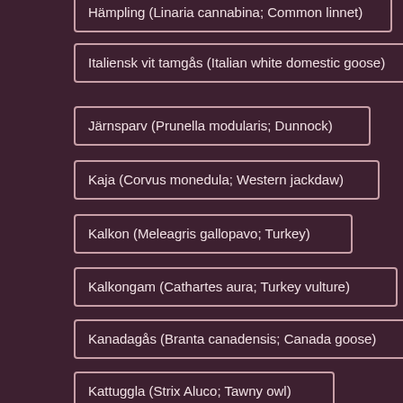Hämpling (Linaria cannabina; Common linnet)
Italiensk vit tamgås (Italian white domestic goose)
Järnsparv (Prunella modularis; Dunnock)
Kaja (Corvus monedula; Western jackdaw)
Kalkon (Meleagris gallopavo; Turkey)
Kalkongam (Cathartes aura; Turkey vulture)
Kanadagås (Branta canadensis; Canada goose)
Kattuggla (Strix Aluco; Tawny owl)
Kentsk tärna (Thalasseus sandvicensis; Sandwich tern)
Klippduva (Columba livia; Rock dove)
Knipa (Bucephala clangula; Common goldeneye)